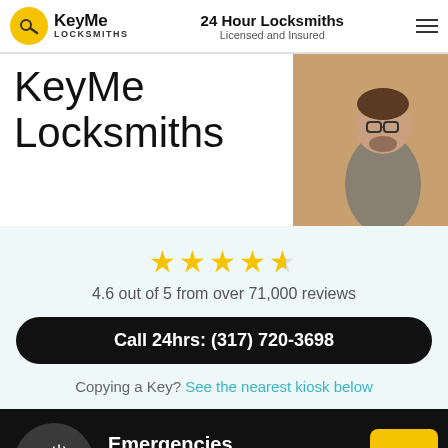KeyMe Locksmiths — 24 Hour Locksmiths Licensed and Insured
KeyMe Locksmiths
[Figure (photo): Photo of a man with glasses and beard working on a door lock]
4.6 out of 5 from over 71,000 reviews
Call 24hrs: (317) 720-3698
Copying a Key? See the nearest kiosk below
Emergencies
Average arrival time is 29 minutes
Call now: (317) 720-3698